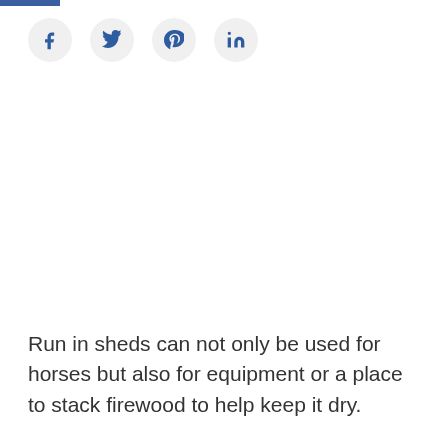[Figure (other): Social media share icons: Facebook (f), Twitter (bird), Pinterest (P), LinkedIn (in) arranged in a row as circular buttons]
Run in sheds can not only be used for horses but also for equipment or a place to stack firewood to help keep it dry.